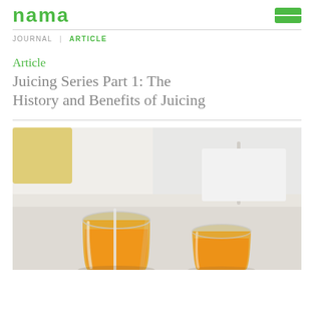nama | JOURNAL | ARTICLE
Article
Juicing Series Part 1: The History and Benefits of Juicing
[Figure (photo): Two glasses of orange juice on a white countertop with a blurred kitchen background]